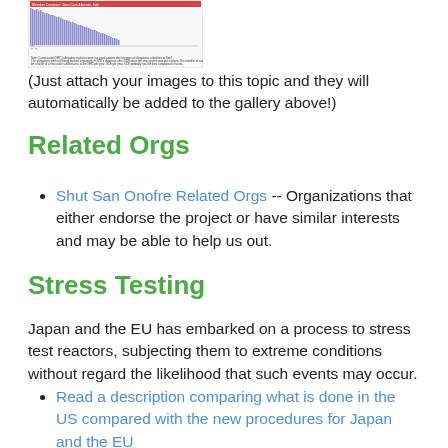[Figure (bar-chart): A bar chart image thumbnail showing multiple columns, appears to be a political/organizational data chart with red and gray bars.]
(Just attach your images to this topic and they will automatically be added to the gallery above!)
Related Orgs
Shut San Onofre Related Orgs -- Organizations that either endorse the project or have similar interests and may be able to help us out.
Stress Testing
Japan and the EU has embarked on a process to stress test reactors, subjecting them to extreme conditions without regard the likelihood that such events may occur.
Read a description comparing what is done in the US compared with the new procedures for Japan and the EU